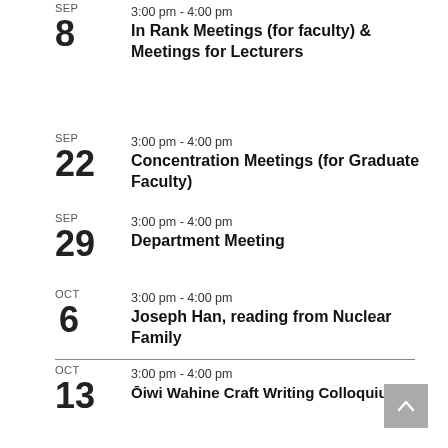SEP 8 3:00 pm - 4:00 pm In Rank Meetings (for faculty) & Meetings for Lecturers
SEP 22 3:00 pm - 4:00 pm Concentration Meetings (for Graduate Faculty)
SEP 29 3:00 pm - 4:00 pm Department Meeting
OCT 6 3:00 pm - 4:00 pm Joseph Han, reading from Nuclear Family
OCT 13 3:00 pm - 4:00 pm Ōiwi Wahine Craft Writing Colloquium
View Calendar